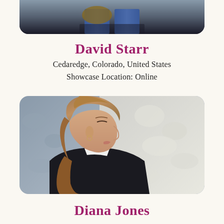[Figure (photo): Partial photo of David Starr (cropped at top), showing jeans and guitar, dark background]
David Starr
Cedaredge, Colorado, United States
Showcase Location: Online
[Figure (photo): Profile photo of Diana Jones, a woman with shoulder-length brown hair looking to the left, wearing a black jacket and white top, against a textured white stone wall background]
Diana Jones